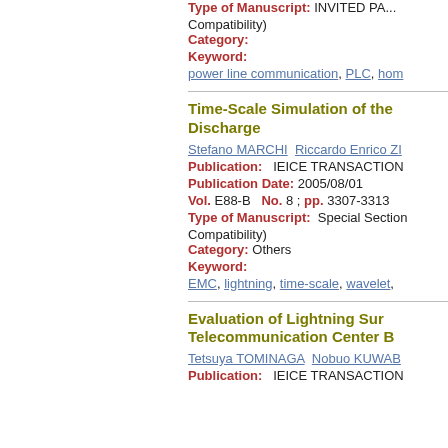Type of Manuscript: INVITED PAP... Compatibility)
Category:
Keyword:
power line communication, PLC, hom...
Time-Scale Simulation of the... Discharge
Stefano MARCHI  Riccardo Enrico ZI...
Publication:   IEICE TRANSACTION...
Publication Date:  2005/08/01
Vol. E88-B  No. 8 ; pp. 3307-3313
Type of Manuscript:  Special Section... Compatibility)
Category:  Others
Keyword:
EMC, lightning, time-scale, wavelet,
Evaluation of Lightning Surg... Telecommunication Center B...
Tetsuya TOMINAGA  Nobuo KUWAB...
Publication:   IEICE TRANSACTION...